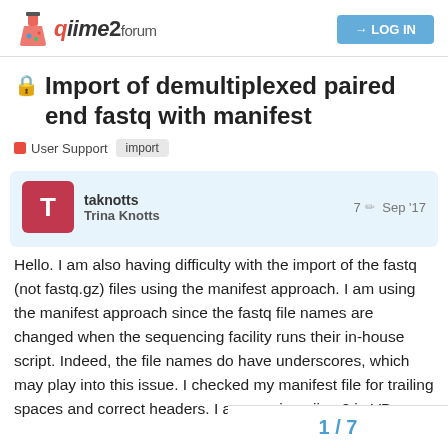qiime2 forum  LOG IN
Import of demultiplexed paired end fastq with manifest
User Support  import
taknotts  Trina Knotts  7  Sep '17
Hello. I am also having difficulty with the import of the fastq (not fastq.gz) files using the manifest approach. I am using the manifest approach since the fastq file names are changed when the sequencing facility runs their in-house script. Indeed, the file names do have underscores, which may play into this issue. I checked my manifest file for trailing spaces and correct headers. I am running qiime2 in VB.

My qiime script :
1 / 7